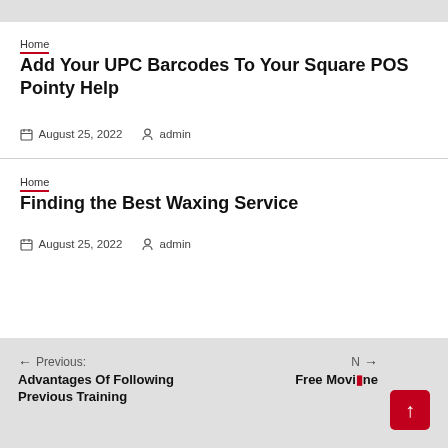Home
Add Your UPC Barcodes To Your Square POS Pointy Help
August 25, 2022   admin
Home
Finding the Best Waxing Service
August 25, 2022   admin
Previous: Advantages Of Following Previous Training   Next: Free Movies ... ne